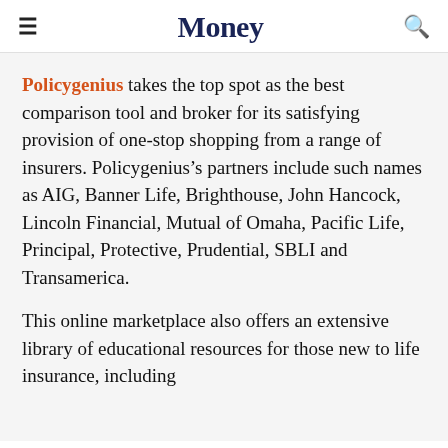Money
Policygenius takes the top spot as the best comparison tool and broker for its satisfying provision of one-stop shopping from a range of insurers. Policygenius’s partners include such names as AIG, Banner Life, Brighthouse, John Hancock, Lincoln Financial, Mutual of Omaha, Pacific Life, Principal, Protective, Prudential, SBLI and Transamerica.
This online marketplace also offers an extensive library of educational resources for those new to life insurance, including